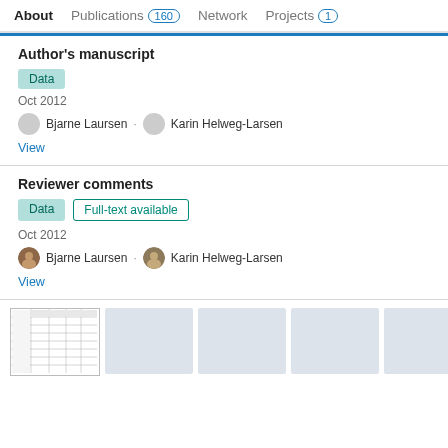About  Publications 160  Network  Projects 1
Author's manuscript
Data
Oct 2012
Bjarne Laursen · Karin Helweg-Larsen
View
Reviewer comments
Data  Full-text available
Oct 2012
Bjarne Laursen · Karin Helweg-Larsen
View
[Figure (screenshot): Thumbnail strip showing one table image and four grey placeholder thumbnails]